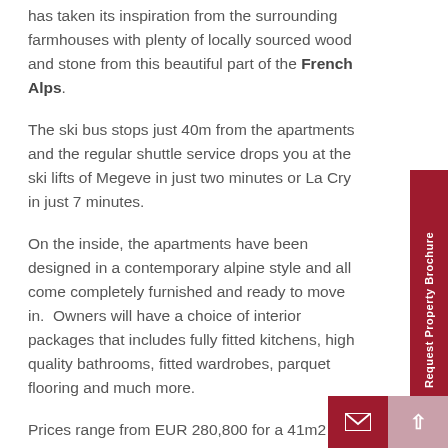has taken its inspiration from the surrounding farmhouses with plenty of locally sourced wood and stone from this beautiful part of the French Alps.
The ski bus stops just 40m from the apartments and the regular shuttle service drops you at the ski lifts of Megeve in just two minutes or La Cry in just 7 minutes.
On the inside, the apartments have been designed in a contemporary alpine style and all come completely furnished and ready to move in. Owners will have a choice of interior packages that includes fully fitted kitchens, high quality bathrooms, fitted wardrobes, parquet flooring and much more.
Prices range from EUR 280,800 for a 41m2 one-bedroom apartment to EUR 1.484m for a large 176m2, 5-bedroom penthouse. All prices include VAT, underground parking and a complete interior package.